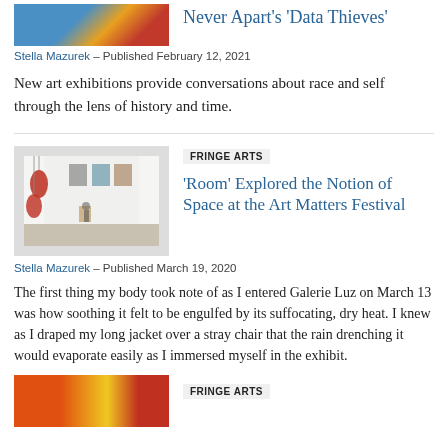[Figure (photo): Top thumbnail image partially visible, colorful artwork]
Never Apart's 'Data Thieves'
Stella Mazurek – Published February 12, 2021
New art exhibitions provide conversations about race and self through the lens of history and time.
[Figure (photo): Gallery interior with red sculptural objects hanging and artwork on white walls]
FRINGE ARTS
'Room' Explored the Notion of Space at the Art Matters Festival
Stella Mazurek – Published March 19, 2020
The first thing my body took note of as I entered Galerie Luz on March 13 was how soothing it felt to be engulfed by its suffocating, dry heat. I knew as I draped my long jacket over a stray chair that the rain drenching it would evaporate easily as I immersed myself in the exhibit.
[Figure (photo): Bottom thumbnail image partially visible, colorful]
FRINGE ARTS